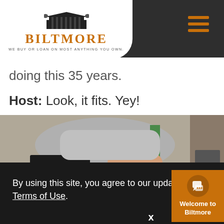[Figure (logo): Biltmore logo with building illustration, orange text BILTMORE, tagline WE BUY OR LOAN ON MOST ANYTHING YOU OWN.]
doing this 35 years.
Host: Look, it fits. Yey!
[Figure (photo): Person's hand/arm reaching across a surface, indoor setting]
By using this site, you agree to our updated Privacy Policy and our Terms of Use.
x
Welcome to Biltmore